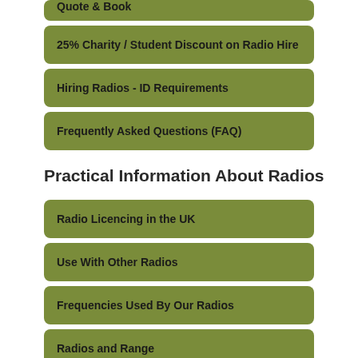Quote & Book
25% Charity / Student Discount on Radio Hire
Hiring Radios - ID Requirements
Frequently Asked Questions (FAQ)
Practical Information About Radios
Radio Licencing in the UK
Use With Other Radios
Frequencies Used By Our Radios
Radios and Range
Looking After Hired Radios